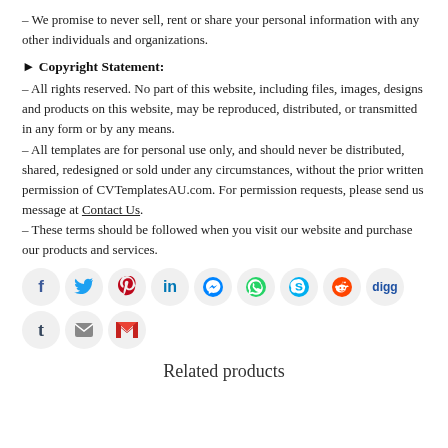– We promise to never sell, rent or share your personal information with any other individuals and organizations.
► Copyright Statement:
– All rights reserved. No part of this website, including files, images, designs and products on this website, may be reproduced, distributed, or transmitted in any form or by any means.
– All templates are for personal use only, and should never be distributed, shared, redesigned or sold under any circumstances, without the prior written permission of CVTemplatesAU.com. For permission requests, please send us message at Contact Us.
– These terms should be followed when you visit our website and purchase our products and services.
[Figure (infographic): Row of social media share icons: Facebook, Twitter, Pinterest, LinkedIn, Messenger, WhatsApp, Skype, Reddit, Digg, Tumblr, Email, Gmail]
Related products